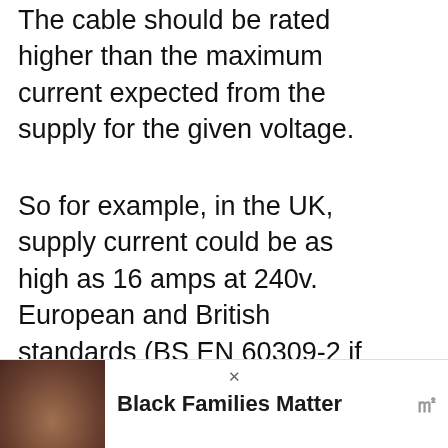The cable should be rated higher than the maximum current expected from the supply for the given voltage.
So for example, in the UK, supply current could be as high as 16 amps at 240v. European and British standards (BS EN 60309-2 if you're interested), states the cable should be rated for 25 amps.
[Figure (photo): Outdoor lifestyle photo showing people, partially visible, with green blurred background suggesting trees/nature.]
[Figure (infographic): Advertisement overlay at bottom: image of people smiling on left, bold text 'Black Families Matter' in center, advertisement logo on right. Also contains a 'WHAT'S NEXT' sidebar with '5 Best RV Converter...' text and a thumbnail image.]